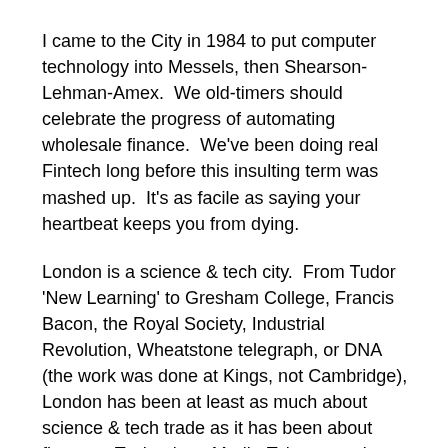I came to the City in 1984 to put computer technology into Messels, then Shearson-Lehman-Amex.  We old-timers should celebrate the progress of automating wholesale finance.  We've been doing real Fintech long before this insulting term was mashed up.  It's as facile as saying your heartbeat keeps you from dying.
London is a science & tech city.  From Tudor 'New Learning' to Gresham College, Francis Bacon, the Royal Society, Industrial Revolution, Wheatstone telegraph, or DNA (the work was done at Kings, not Cambridge), London has been at least as much about science & tech trade as it has been about finance.  Technology-Media-Telecomms is a significantly larger percentage of firms under 100 employees than finance, insurance, or professional services.  Our centuries of tech drive regtech, instech, arttech, filmtech, songtech, medtech, edtech, traveltech.
Finance moves with technology too, from cuneiform to papyri to tally sticks to spreadsheets to databases and now databases-plus, smart or distributed ledgers, blockchains.  But smart